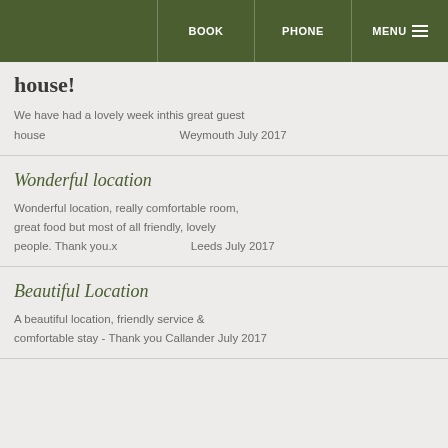BOOK  PHONE  MENU
house!
We have had a lovely week inthis great guest house  Weymouth July 2017
Wonderful location
Wonderful location, really comfortable room, great food but most of all friendly, lovely people. Thank you.x  Leeds July 2017
Beautiful Location
A beautiful location, friendly service & comfortable stay - Thank you Callander July 2017